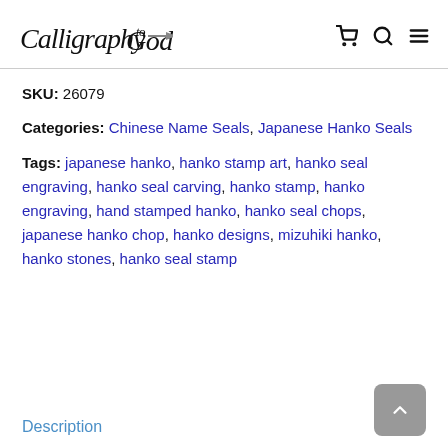Calligraphy to God [logo with nav icons: cart, search, menu]
SKU: 26079
Categories: Chinese Name Seals, Japanese Hanko Seals
Tags: japanese hanko, hanko stamp art, hanko seal engraving, hanko seal carving, hanko stamp, hanko engraving, hand stamped hanko, hanko seal chops, japanese hanko chop, hanko designs, mizuhiki hanko, hanko stones, hanko seal stamp
Description